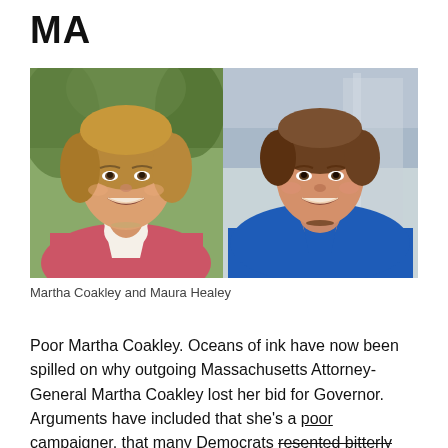MA
[Figure (photo): Side-by-side headshot photos of Martha Coakley (left, blonde/brown hair, pink jacket) and Maura Healey (right, brown hair, blue jacket)]
Martha Coakley and Maura Healey
Poor Martha Coakley. Oceans of ink have now been spilled on why outgoing Massachusetts Attorney-General Martha Coakley lost her bid for Governor. Arguments have included that she’s a poor campaigner, that many Democrats resented bitterly her loss to Scott Brown back in 2010, that she was a female candidate facing a somewhat sexist electorate.
It...